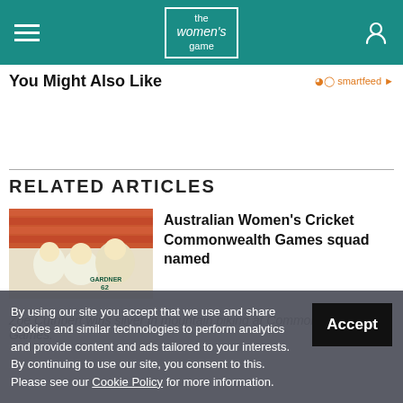the women's game
You Might Also Like
RELATED ARTICLES
[Figure (photo): Australian women cricketers in yellow uniforms, GARDNER 62 visible on jersey]
Australian Women's Cricket Commonwealth Games squad named
Zoe Cuthbert wins silver in mountain biking at Commonwealth Games.
By using our site you accept that we use and share cookies and similar technologies to perform analytics and provide content and ads tailored to your interests. By continuing to use our site, you consent to this. Please see our Cookie Policy for more information.